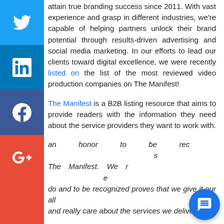attain true branding success since 2011. With vast experience and grasp in different industries, we're capable of helping partners unlock their brand potential through results-driven advertising and social media marketing. In our efforts to lead our clients toward digital excellence, we were recently listed on the list of the most reviewed video production companies on The Manifest!
The Manifest is a B2B listing resource that aims to provide readers with the information they need about the service providers they want to work with.
"It's an honor to be recognized by The Manifest. We really care about what we do and to be recognized proves that we give it our all and really care about the services we deliver."
— Keith Kakadia, Founder & CEO, SociallyIn
[Figure (screenshot): Social media sharing sidebar with Twitter, LinkedIn, Facebook, and Google+ buttons on the left side of the page]
[Figure (screenshot): Sociallyin chat popup with robot icon showing 'Welcome to Sociallyin!' message and a blue chat button in the bottom right]